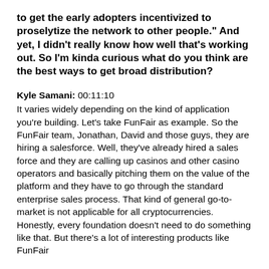to get the early adopters incentivized to proselytize the network to other people." And yet, I didn't really know how well that's working out. So I'm kinda curious what do you think are the best ways to get broad distribution?
Kyle Samani: 00:11:10
It varies widely depending on the kind of application you're building. Let's take FunFair as example. So the FunFair team, Jonathan, David and those guys, they are hiring a salesforce. Well, they've already hired a sales force and they are calling up casinos and other casino operators and basically pitching them on the value of the platform and they have to go through the standard enterprise sales process. That kind of general go-to-market is not applicable for all cryptocurrencies. Honestly, every foundation doesn't need to do something like that. But there's a lot of interesting products like FunFair